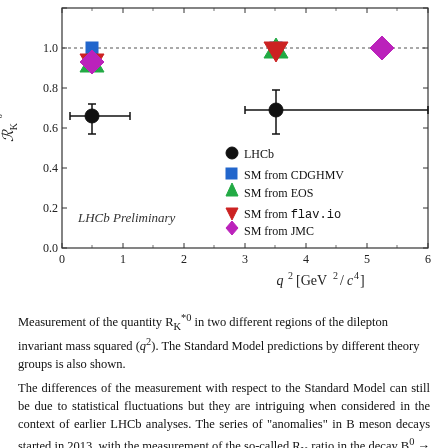[Figure (scatter-plot): Scatter plot showing measurement of R_K*0 in two q² regions (LHCb data points with error bars) and Standard Model predictions from four theory groups (CDGHMV, EOS, flav.io, JMC). LHCb points at ~0.65 (q²~0.5) and ~0.69 (q²~3.5). SM predictions cluster near 1.0. Dotted horizontal line at 1.0. Text 'LHCb Preliminary' inside plot.]
Measurement of the quantity R_K*0 in two different regions of the dilepton invariant mass squared (q²). The Standard Model predictions by different theory groups is also shown.
The differences of the measurement with respect to the Standard Model can still be due to statistical fluctuations but they are intriguing when considered in the context of earlier LHCb analyses. The series of "anomalies" in B meson decays started in 2013, with the measurement of the so-called R_K ratio in the decay B⁰ → K* μ⁺μ⁻ pioneered by the